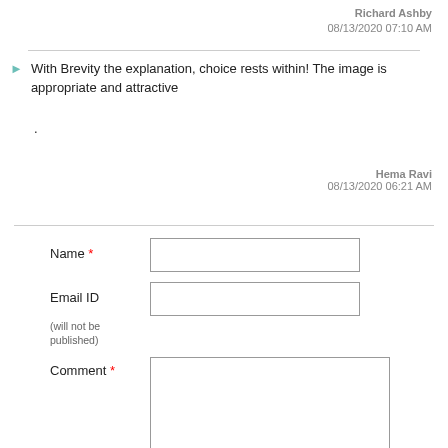Richard Ashby
08/13/2020 07:10 AM
With Brevity the explanation, choice rests within! The image is appropriate and attractive
.
Hema Ravi
08/13/2020 06:21 AM
Name *
Email ID
(will not be published)
Comment *